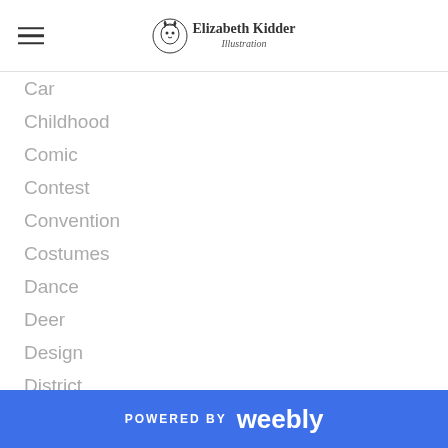Elizabeth Kidder Illustration
Car
Childhood
Comic
Contest
Convention
Costumes
Dance
Deer
Design
District
Dogwood Arts Festival
Dolphin
Dynomighty
Einsteins
Exhibit
Experimentation
POWERED BY weebly